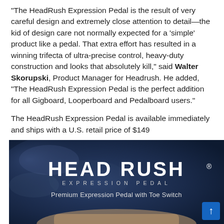“The HeadRush Expression Pedal is the result of very careful design and extremely close attention to detail—the kid of design care not normally expected for a ‘simple’ product like a pedal. That extra effort has resulted in a winning trifecta of ultra-precise control, heavy-duty construction and looks that absolutely kill,” said Walter Skorupski, Product Manager for Headrush. He added, “The HeadRush Expression Pedal is the perfect addition for all Gigboard, Looperboard and Pedalboard users.”
The HeadRush Expression Pedal is available immediately and ships with a U.S. retail price of $149
[Figure (photo): HeadRush Expression Pedal product image with blue smoky background showing the HEAD RUSH EXPRESSION PEDAL branding and subtitle 'Premium Expression Pedal with Toe Switch']